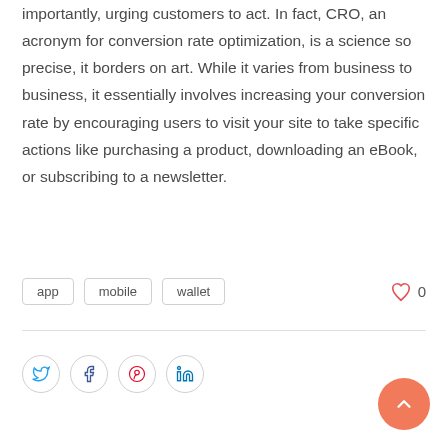importantly, urging customers to act. In fact, CRO, an acronym for conversion rate optimization, is a science so precise, it borders on art. While it varies from business to business, it essentially involves increasing your conversion rate by encouraging users to visit your site to take specific actions like purchasing a product, downloading an eBook, or subscribing to a newsletter.
app
mobile
wallet